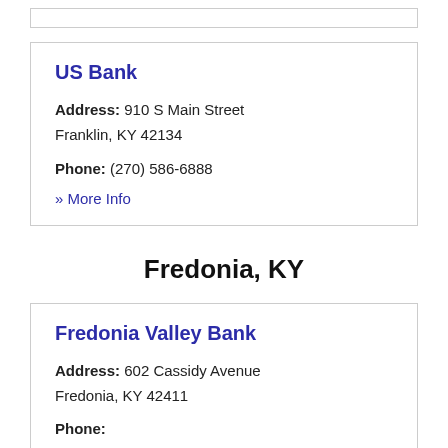(partial card top)
US Bank
Address: 910 S Main Street
Franklin, KY 42134
Phone: (270) 586-6888
» More Info
Fredonia, KY
Fredonia Valley Bank
Address: 602 Cassidy Avenue
Fredonia, KY 42411
Phone: (partial)